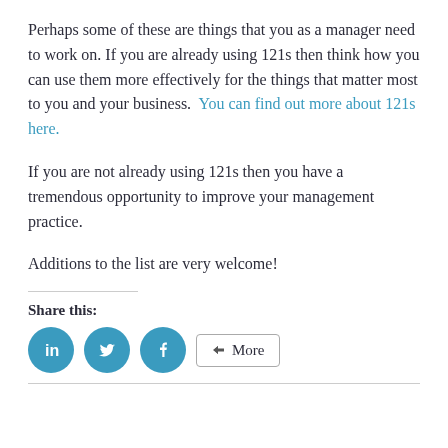Perhaps some of these are things that you as a manager need to work on. If you are already using 121s then think how you can use them more effectively for the things that matter most to you and your business.  You can find out more about 121s here.
If you are not already using 121s then you have a tremendous opportunity to improve your management practice.
Additions to the list are very welcome!
Share this: